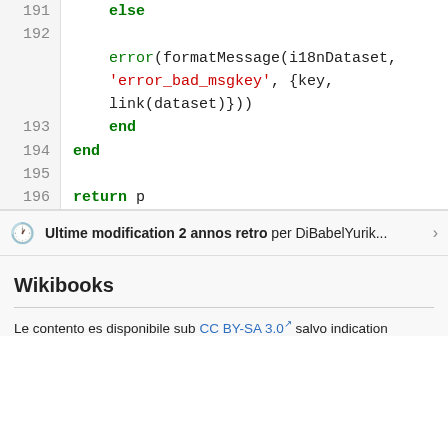[Figure (screenshot): Code block showing lines 191-196 of a programming file. Line 191: 'else' keyword in green bold. Line 192: empty. Lines 192-193 contain: error(formatMessage(i18nDataset, 'error_bad_msgkey', {key, link(dataset)})). Line 193: 'end' keyword in green bold. Line 194: 'end' keyword in green bold. Line 195: empty. Line 196: 'return p' with 'return' in green bold.]
Ultime modification 2 annos retro per DiBabelYurik...
Wikibooks
Le contento es disponibile sub CC BY-SA 3.0 salvo indication